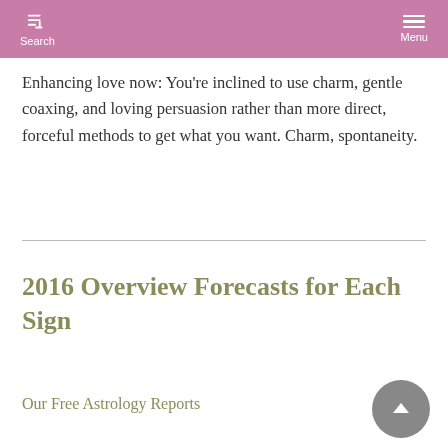Search   Menu
Enhancing love now: You’re inclined to use charm, gentle coaxing, and loving persuasion rather than more direct, forceful methods to get what you want. Charm, spontaneity.
2016 Overview Forecasts for Each Sign
Our Free Astrology Reports